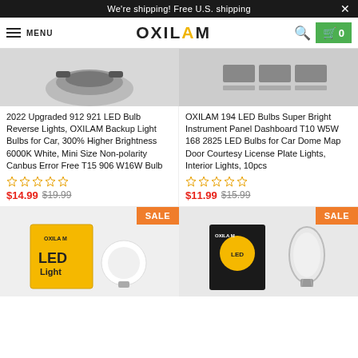We're shipping! Free U.S. shipping
MENU  OXILAM  🔍  🛒 0
[Figure (photo): Product image of 912 921 LED Bulb Reverse Lights]
2022 Upgraded 912 921 LED Bulb Reverse Lights, OXILAM Backup Light Bulbs for Car, 300% Higher Brightness 6000K White, Mini Size Non-polarity Canbus Error Free T15 906 W16W Bulb
★★★★★ $14.99 $19.99
[Figure (photo): Product image of OXILAM 194 LED Bulbs Super Bright Instrument Panel Dashboard]
OXILAM 194 LED Bulbs Super Bright Instrument Panel Dashboard T10 W5W 168 2825 LED Bulbs for Car Dome Map Door Courtesy License Plate Lights, Interior Lights, 10pcs
★★★★★ $11.99 $15.99
[Figure (photo): SALE - OXILAM LED Light box product image bottom left]
[Figure (photo): SALE - OXILAM LED Light box product image bottom right]